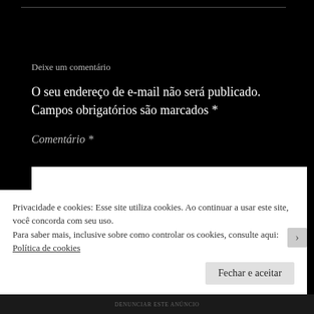Deixe um comentário
O seu endereço de e-mail não será publicado. Campos obrigatórios são marcados *
Comentário *
Privacidade e cookies: Esse site utiliza cookies. Ao continuar a usar este site, você concorda com seu uso.
Para saber mais, inclusive sobre como controlar os cookies, consulte aqui: Política de cookies
Fechar e aceitar
DENUNCIAR ESTE ANÚNCIO